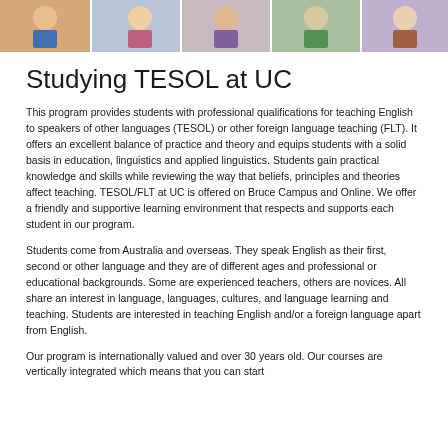[Figure (photo): A horizontal strip of group photos showing students and teachers at UC]
Studying TESOL at UC
This program provides students with professional qualifications for teaching English to speakers of other languages (TESOL) or other foreign language teaching (FLT). It offers an excellent balance of practice and theory and equips students with a solid basis in education, linguistics and applied linguistics. Students gain practical knowledge and skills while reviewing the way that beliefs, principles and theories affect teaching. TESOL/FLT at UC is offered on Bruce Campus and Online. We offer a friendly and supportive learning environment that respects and supports each student in our program.
Students come from Australia and overseas. They speak English as their first, second or other language and they are of different ages and professional or educational backgrounds. Some are experienced teachers, others are novices. All share an interest in language, languages, cultures, and language learning and teaching. Students are interested in teaching English and/or a foreign language apart from English.
Our program is internationally valued and over 30 years old. Our courses are vertically integrated which means that you can start